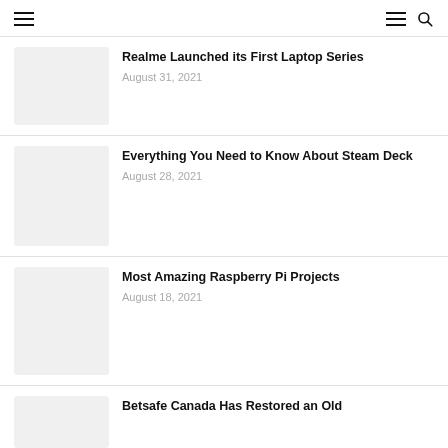Navigation header with hamburger menu and search icon
[Figure (screenshot): Thumbnail image placeholder (light gray) for Realme Launched its First Laptop Series article]
Realme Launched its First Laptop Series
August 31, 2021
[Figure (screenshot): Thumbnail image placeholder (light gray) for Everything You Need to Know About Steam Deck article]
Everything You Need to Know About Steam Deck
August 28, 2021
[Figure (screenshot): Thumbnail image placeholder (light gray) for Most Amazing Raspberry Pi Projects article]
Most Amazing Raspberry Pi Projects
August 18, 2021
[Figure (screenshot): Thumbnail image placeholder (light gray) for Betsafe Canada Has Restored an Old article]
Betsafe Canada Has Restored an Old